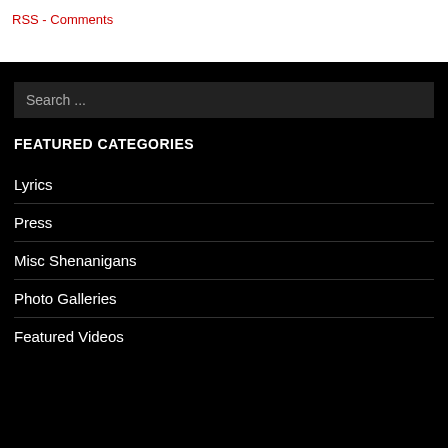RSS - Comments
Search ...
FEATURED CATEGORIES
Lyrics
Press
Misc Shenanigans
Photo Galleries
Featured Videos